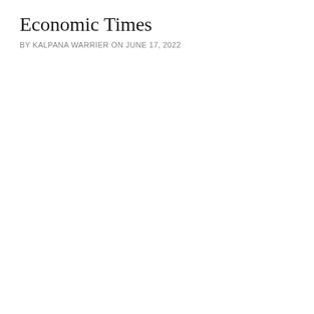Economic Times
BY KALPANA WARRIER ON JUNE 17, 2022